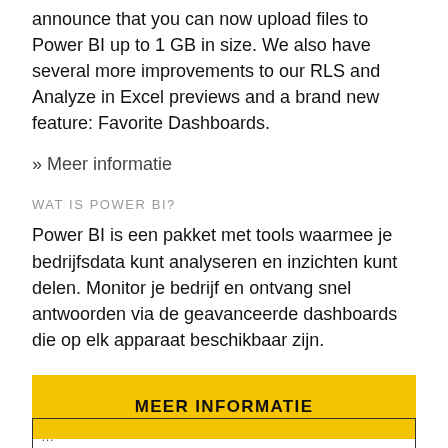announce that you can now upload files to Power BI up to 1 GB in size. We also have several more improvements to our RLS and Analyze in Excel previews and a brand new feature: Favorite Dashboards.
» Meer informatie
WAT IS POWER BI?
Power BI is een pakket met tools waarmee je bedrijfsdata kunt analyseren en inzichten kunt delen. Monitor je bedrijf en ontvang snel antwoorden via de geavanceerde dashboards die op elk apparaat beschikbaar zijn.
MEER INFORMATIE
LEES HET LAATSTE NIEUWS IN HET POWER BI-BLOG
…